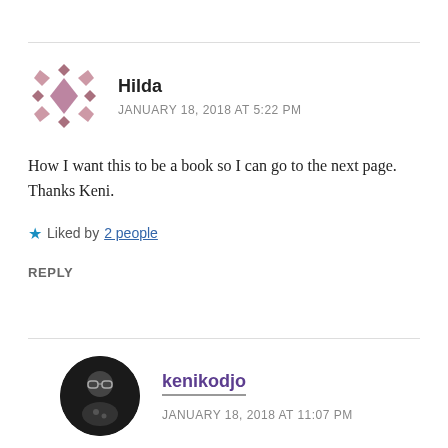[Figure (illustration): Decorative avatar icon for user Hilda — geometric diamond/star pattern in mauve/pink tones]
Hilda
JANUARY 18, 2018 AT 5:22 PM
How I want this to be a book so I can go to the next page. Thanks Keni.
Liked by 2 people
REPLY
[Figure (photo): Circular profile photo of kenikodjo — person wearing glasses, dark clothing]
kenikodjo
JANUARY 18, 2018 AT 11:07 PM